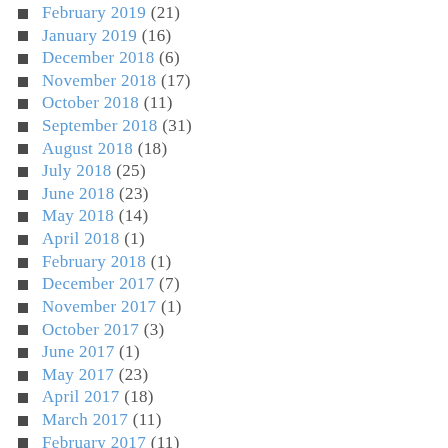February 2019 (21)
January 2019 (16)
December 2018 (6)
November 2018 (17)
October 2018 (11)
September 2018 (31)
August 2018 (18)
July 2018 (25)
June 2018 (23)
May 2018 (14)
April 2018 (1)
February 2018 (1)
December 2017 (7)
November 2017 (1)
October 2017 (3)
June 2017 (1)
May 2017 (23)
April 2017 (18)
March 2017 (11)
February 2017 (11)
January 2017 (9)
December 2016 (15)
November 2016 (20)
October 2016 (7)
September 2016 (4)